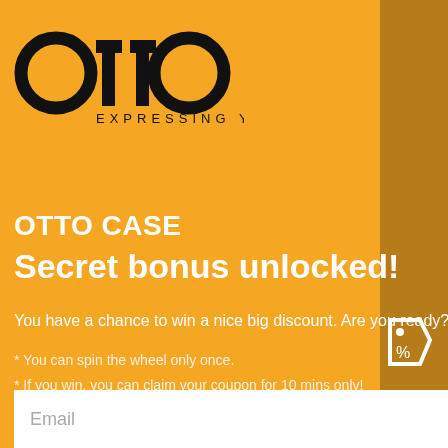[Figure (logo): OTTO logo with two circular letters and tagline EXPRESSING YOU]
OTTO CASE
Secret bonus unlocked!
You have a chance to win a nice big discount. Are you ready?
* You can spin the wheel only once.
* If you win, you can claim your coupon for 10 mins only!
Email
TRY YOUR LUCK
No, I don't feel lucky